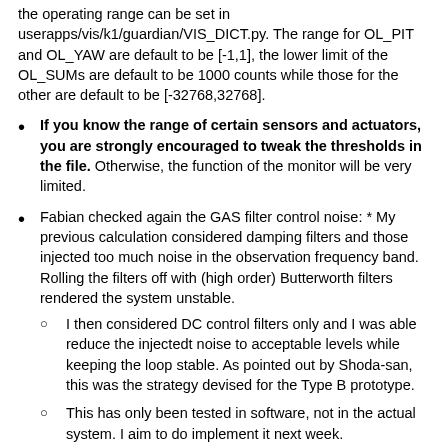the operating range can be set in userapps/vis/k1/guardian/VIS_DICT.py. The range for OL_PIT and OL_YAW are default to be [-1,1], the lower limit of the OL_SUMs are default to be 1000 counts while those for the other are default to be [-32768,32768].
If you know the range of certain sensors and actuators, you are strongly encouraged to tweak the thresholds in the file. Otherwise, the function of the monitor will be very limited.
Fabian checked again the GAS filter control noise: * My previous calculation considered damping filters and those injected too much noise in the observation frequency band. Rolling the filters off with (high order) Butterworth filters rendered the system unstable.
I then considered DC control filters only and I was able reduce the injectedt noise to acceptable levels while keeping the loop stable. As pointed out by Shoda-san, this was the strategy devised for the Type B prototype.
This has only been tested in software, not in the actual system. I aim to do implement it next week.
This strategy will work only if the resonant motion of the system is not excited after disabling the payload and GAS chain damping control. On the 23rd of May